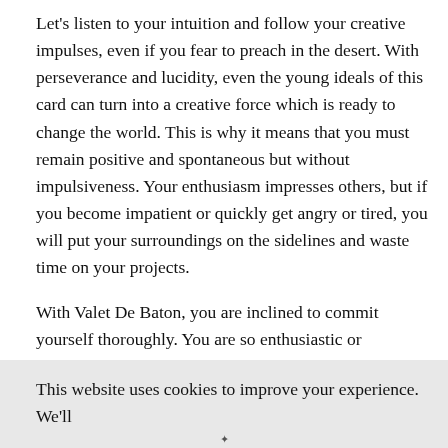Let's listen to your intuition and follow your creative impulses, even if you fear to preach in the desert. With perseverance and lucidity, even the young ideals of this card can turn into a creative force which is ready to change the world. This is why it means that you must remain positive and spontaneous but without impulsiveness. Your enthusiasm impresses others, but if you become impatient or quickly get angry or tired, you will put your surroundings on the sidelines and waste time on your projects.
With Valet De Baton, you are inclined to commit yourself thoroughly. You are so enthusiastic or passionate that you take the opportunity to start a new journey or a new project before you even know where it will take you. For now, you do not necessarily have a project that really stands out and
This website uses cookies to improve your experience. We'll